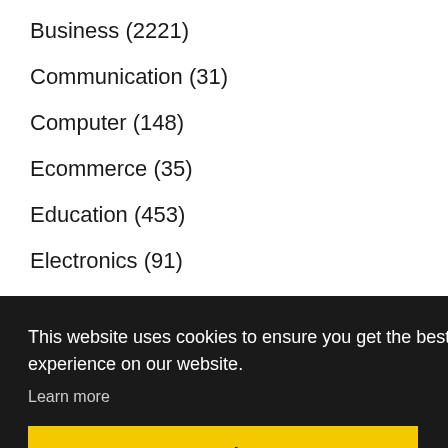Business (2221)
Communication (31)
Computer (148)
Ecommerce (35)
Education (453)
Electronics (91)
Energy (5)
This website uses cookies to ensure you get the best experience on our website.
Learn more
Got it!
Guidelines   Contact